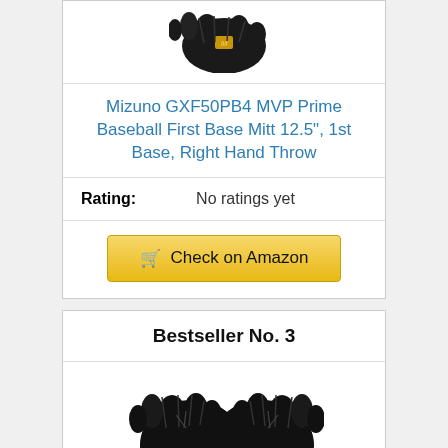[Figure (photo): Mizuno baseball glove product image (partial, top of card)]
Mizuno GXF50PB4 MVP Prime Baseball First Base Mitt 12.5", 1st Base, Right Hand Throw
Rating: No ratings yet
Check on Amazon
Bestseller No. 3
[Figure (photo): Rawlings black baseball first base mitt product image]
Rawlings Renegade 12 1/2" FBM, Conv/Single